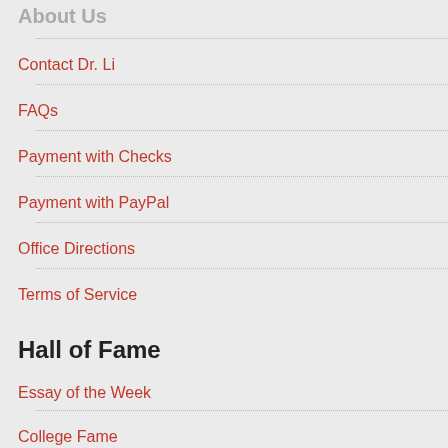About Us
Contact Dr. Li
FAQs
Payment with Checks
Payment with PayPal
Office Directions
Terms of Service
Hall of Fame
Essay of the Week
College Fame